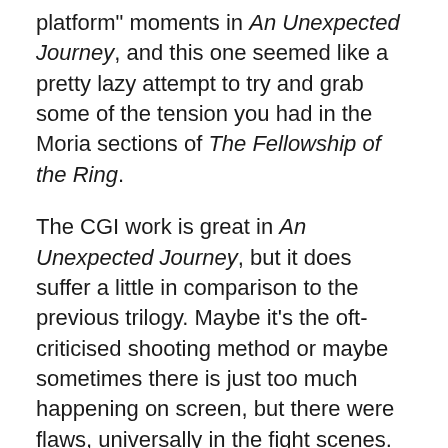platform" moments in An Unexpected Journey, and this one seemed like a pretty lazy attempt to try and grab some of the tension you had in the Moria sections of The Fellowship of the Ring.
The CGI work is great in An Unexpected Journey, but it does suffer a little in comparison to the previous trilogy. Maybe it's the oft-criticised shooting method or maybe sometimes there is just too much happening on screen, but there were flaws, universally in the fight scenes. The stone giant “fight” was one, and the subsequent adventure in “Goblin-town” was another. The Great Goblin himself was a wonderful bit of computer imagery, ably voiced by Barry “Dame Edna” Humphries, but the skittering hordes of goblins around him were far too cartoony for my liking. The very real goblins of Moria were super effective, far more than the rapidly moving CGI versions in An